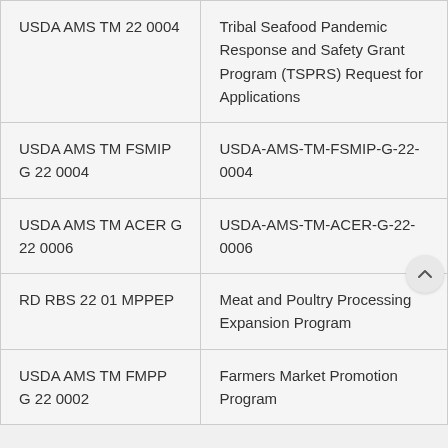| USDA AMS TM 22 0004 | Tribal Seafood Pandemic Response and Safety Grant Program (TSPRS) Request for Applications |
| USDA AMS TM FSMIP G 22 0004 | USDA-AMS-TM-FSMIP-G-22-0004 |
| USDA AMS TM ACER G 22 0006 | USDA-AMS-TM-ACER-G-22-0006 |
| RD RBS 22 01 MPPEP | Meat and Poultry Processing Expansion Program |
| USDA AMS TM FMPP G 22 0002 | Farmers Market Promotion Program |